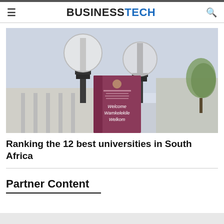BUSINESSTECH
[Figure (photo): University campus entrance with lamp posts and a purple welcome banner reading 'Welcome Wamkelekile Welkom' in front of a building]
Ranking the 12 best universities in South Africa
Partner Content